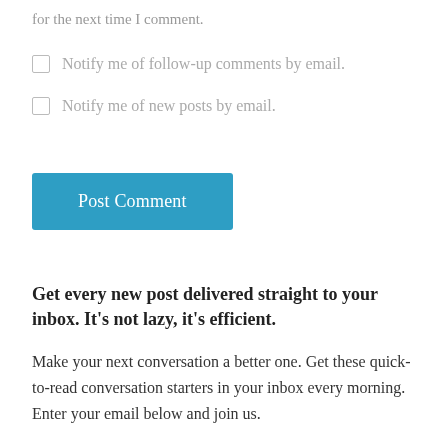for the next time I comment.
Notify me of follow-up comments by email.
Notify me of new posts by email.
Post Comment
Get every new post delivered straight to your inbox. It's not lazy, it's efficient.
Make your next conversation a better one. Get these quick-to-read conversation starters in your inbox every morning. Enter your email below and join us.
Email